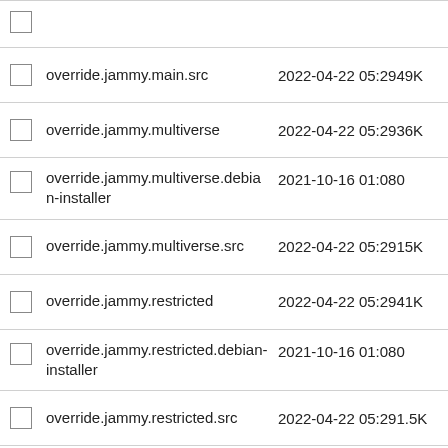override.jammy.main.src  2022-04-22 05:2949K
override.jammy.multiverse  2022-04-22 05:2936K
override.jammy.multiverse.debian-installer  2021-10-16 01:080
override.jammy.multiverse.src  2022-04-22 05:2915K
override.jammy.restricted  2022-04-22 05:2941K
override.jammy.restricted.debian-installer  2021-10-16 01:080
override.jammy.restricted.src  2022-04-22 05:291.5K
override.jammy.universe  2022-04-22 05:292.4M
override.jammy.universe.debian-installer  2021-10-16 01:080